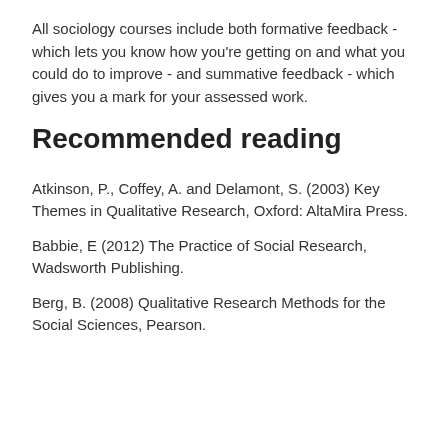All sociology courses include both formative feedback - which lets you know how you're getting on and what you could do to improve - and summative feedback - which gives you a mark for your assessed work.
Recommended reading
Atkinson, P., Coffey, A. and Delamont, S. (2003) Key Themes in Qualitative Research, Oxford: AltaMira Press.
Babbie, E (2012) The Practice of Social Research, Wadsworth Publishing.
Berg, B. (2008) Qualitative Research Methods for the Social Sciences, Pearson.